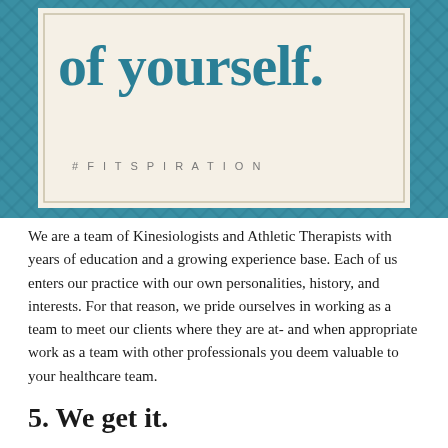[Figure (illustration): Decorative teal bordered card with large bold teal text reading 'of yourself.' and hashtag #FITSPIRATION below on a cream/off-white background with a teal crosshatch/diamond pattern border.]
We are a team of Kinesiologists and Athletic Therapists with years of education and a growing experience base. Each of us enters our practice with our own personalities, history, and interests. For that reason, we pride ourselves in working as a team to meet our clients where they are at- and when appropriate work as a team with other professionals you deem valuable to your healthcare team.
5. We get it.